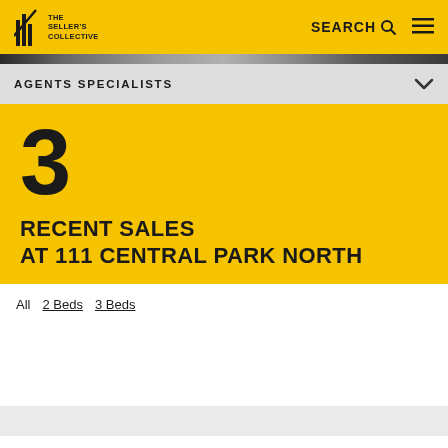THE SELLER'S COLLECTIVE | SEARCH | ☰
AGENTS SPECIALISTS
3
RECENT SALES AT 111 CENTRAL PARK NORTH
All  2 Beds  3 Beds